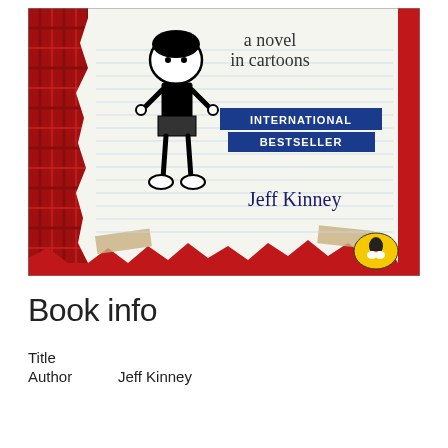[Figure (photo): Book cover of Diary of a Wimpy Kid by Jeff Kinney. Red background with a plaid pattern on the left side. A torn piece of lined notebook paper in the center shows a cartoon boy figure, text reading 'a novel in cartoons', 'INTERNATIONAL BESTSELLER' on a blue banner, and 'Jeff Kinney' in handwritten style. A Puffin Books logo (yellow oval with penguin) is in the bottom right corner.]
Book info
Title
Author	Jeff Kinney